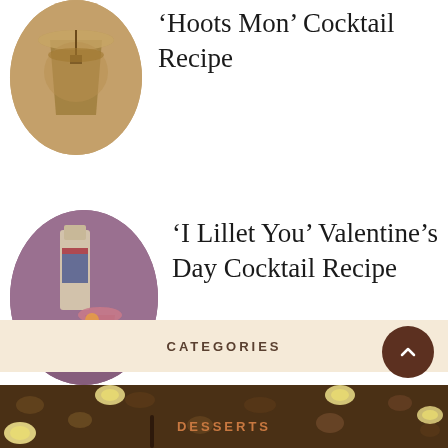[Figure (photo): Circular thumbnail photo of a cocktail drink (Hoots Mon Cocktail)]
‘Hoots Mon’ Cocktail Recipe
[Figure (photo): Circular thumbnail photo of Lillet bottles and a cocktail drink]
‘I Lillet You’ Valentine’s Day Cocktail Recipe
CATEGORIES
[Figure (photo): Photo of granola/dessert with banana slices, labeled DESSERTS]